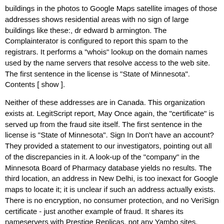buildings in the photos to Google Maps satellite images of those addresses shows residential areas with no sign of large buildings like these:, dr edward b armington. The Complainterator is configured to report this spam to the registrars. It performs a "whois" lookup on the domain names used by the name servers that resolve access to the web site. The first sentence in the license is "State of Minnesota". Contents [ show ].
Neither of these addresses are in Canada. This organization exists at. LegitScript report, May Once again, the "certificate" is served up from the fraud site itself. The first sentence in the license is "State of Minnesota". Sign In Don't have an account? They provided a statement to our investigators, pointing out all of the discrepancies in it. A look-up of the "company" in the Minnesota Board of Pharmacy database yields no results. The third location, an address in New Delhi, is too inexact for Google maps to locate it; it is unclear if such an address actually exists. There is no encryption, no consumer protection, and no VeriSign certificate - just another example of fraud. It shares its nameservers with Prestige Replicas, not any Yambo sites. Retrieved from " http: On the right is a padlock icon representing an encrypted link, together with a false claim to be using encryption. Note the false information: On the left, the browser reveals the true status - no encryption. The certificate states that information exchanged with any address beginning with https